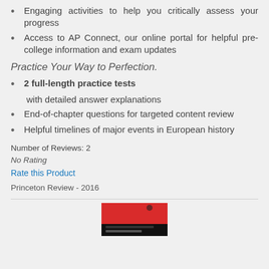Engaging activities to help you critically assess your progress
Access to AP Connect, our online portal for helpful pre-college information and exam updates
Practice Your Way to Perfection.
2 full-length practice tests with detailed answer explanations
End-of-chapter questions for targeted content review
Helpful timelines of major events in European history
Number of Reviews: 2
No Rating
Rate this Product
Princeton Review - 2016
[Figure (photo): Book cover image at bottom of page, red and black design]